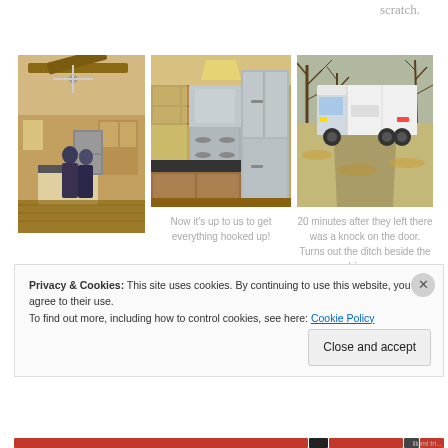scratch.
[Figure (photo): Interior of a log cabin style home with people working around kitchen appliances]
[Figure (photo): Kitchen with wooden cabinets, dark countertops, stainless steel appliances including refrigerator and stove]
[Figure (photo): Large white moving truck parked on a driveway surrounded by bare trees]
Now it's up to us to get everything hooked up!
20 minutes after they left there was a knock on the door. Turns out the ditch beside the driveway
Privacy & Cookies: This site uses cookies. By continuing to use this website, you agree to their use.
To find out more, including how to control cookies, see here: Cookie Policy
Close and accept